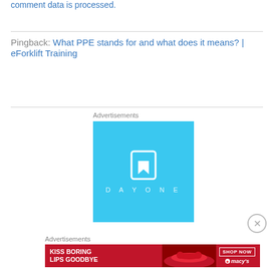comment data is processed.
Pingback: What PPE stands for and what does it means? | eForklift Training
Advertisements
[Figure (logo): Day One app advertisement on light blue background with white bookmark icon and DAYONE wordmark]
[Figure (photo): Macy's advertisement: KISS BORING LIPS GOODBYE with SHOP NOW button and Macy's star logo on red background]